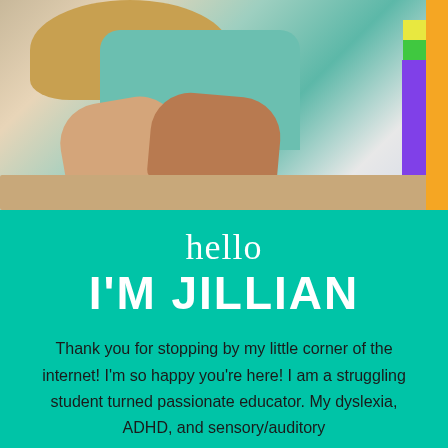[Figure (photo): Photo of a woman and child/student sitting at a desk with clasped hands visible; the student wears a teal/green shirt; colorful books visible on the right side; an orange accent bar on the far right edge.]
hello
I'M JILLIAN
Thank you for stopping by my little corner of the internet! I'm so happy you're here! I am a struggling student turned passionate educator. My dyslexia, ADHD, and sensory/auditory